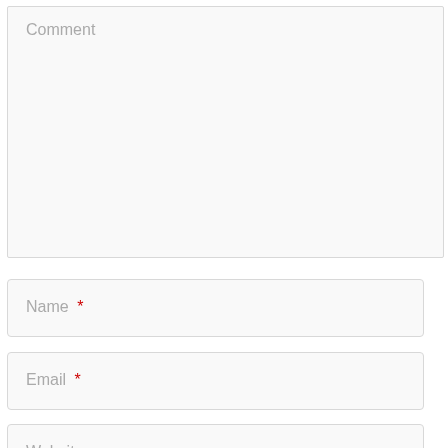Comment
Name *
Email *
Website